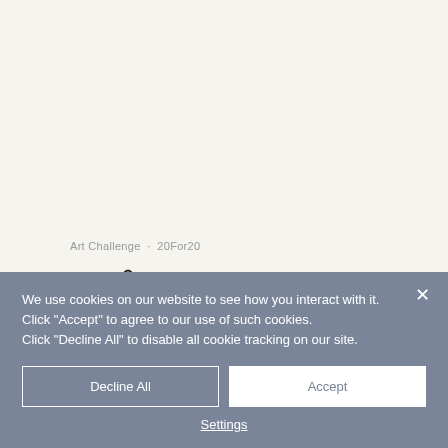[Figure (screenshot): White/off-white background area representing a webpage screenshot with art challenge metadata visible]
Art Challenge · 20For20
[Figure (illustration): Social share icons: Facebook icon and a link/chain icon]
We use cookies on our website to see how you interact with it. Click "Accept" to agree to our use of such cookies. Click "Decline All" to disable all cookie tracking on our site.
Decline All
Accept
Settings